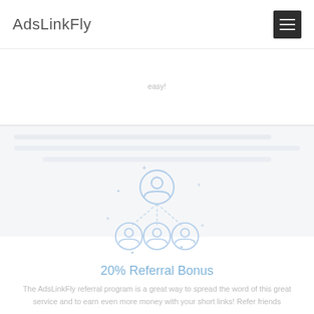AdsLinkFly
easy!
[Figure (illustration): Referral program icon: one person icon at top connected by dashed lines to three person icons below, light blue outline style with decorative plus/star symbols around]
20% Referral Bonus
The AdsLinkFly referral program is a great way to spread the word of this great service and to earn even more money with your short links! Refer friends